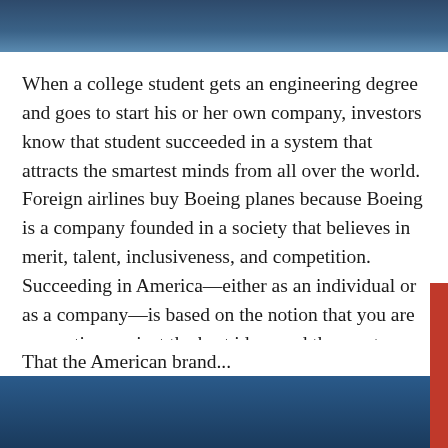When a college student gets an engineering degree and goes to start his or her own company, investors know that student succeeded in a system that attracts the smartest minds from all over the world. Foreign airlines buy Boeing planes because Boeing is a company founded in a society that believes in merit, talent, inclusiveness, and competition. Succeeding in America—either as an individual or as a company—is based on the notion that you are competing against the best ideas and the most talented individuals, regardless of what they believe or where they were born.
That the American brand...